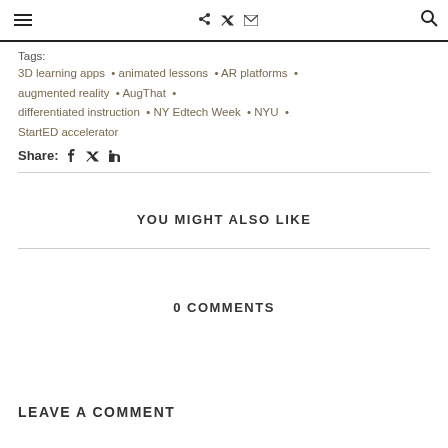☰   f  𝕏  ✉   🔍
Tags: 3D learning apps • animated lessons • AR platforms • augmented reality • AugThat • differentiated instruction • NY Edtech Week • NYU • StartED accelerator
Share: f  𝕏  in
YOU MIGHT ALSO LIKE
0 COMMENTS
LEAVE A COMMENT